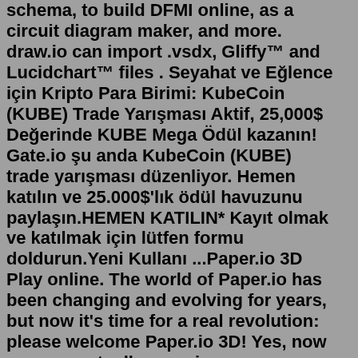schema, to build DFMI online, as a circuit diagram maker, and more. draw.io can import .vsdx, Gliffy™ and Lucidchart™ files . Seyahat ve Eğlence için Kripto Para Birimi: KubeCoin (KUBE) Trade Yarışması Aktif, 25,000$ Değerinde KUBE Mega Ödül kazanın! Gate.io şu anda KubeCoin (KUBE) trade yarışması düzenliyor. Hemen katılın ve 25.000$'lık ödül havuzunu paylaşın.HEMEN KATILIN* Kayıt olmak ve katılmak için lütfen formu doldurun.Yeni Kullanı ...Paper.io 3D Play online. The world of Paper.io has been changing and evolving for years, but now it's time for a real revolution: please welcome Paper.io 3D! Yes, now you can actually experience your favorite paper battles in full 3D - watch the once flat levels come to life and become even more exciting and engaging than ever.We're a company that celebrates diversity and equality, represented by team members in 6 out of 7 continents. We are a self-funded, employee-owned startup with a mission - to make video editing accessible to everyone. We also champion sustainability! Our servers run on